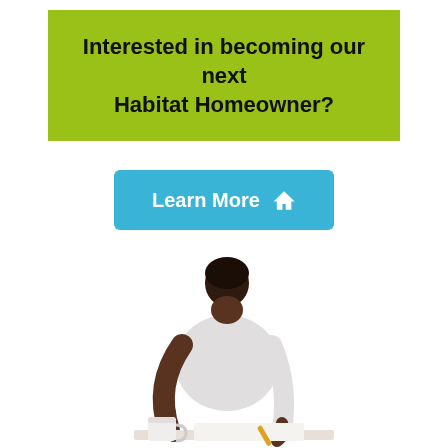Interested in becoming our next Habitat Homeowner?
[Figure (other): A cyan/blue button labeled 'Learn More' with a white house icon]
[Figure (illustration): Flat vector illustration of a person sitting and writing at a desk with a coffee mug, wearing a white shirt, viewed from a slight angle]